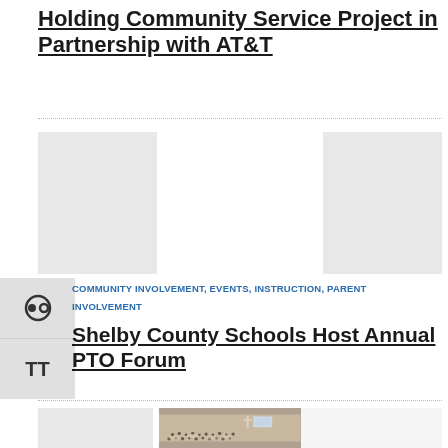Holding Community Service Project in Partnership with AT&T
[Figure (photo): Three image placeholders in a row — two gray placeholder boxes on left and right, center appears blank/white]
COMMUNITY INVOLVEMENT, EVENTS, INSTRUCTION, PARENT INVOLVEMENT
Shelby County Schools Host Annual PTO Forum
[Figure (photo): A large auditorium or church hall filled with people seated at round tables, with a cross visible on the wall and a presentation screen in the background]